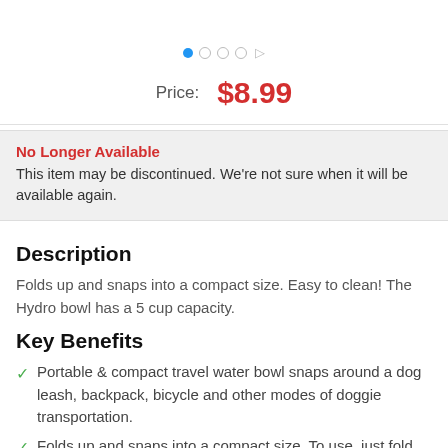[Figure (other): Product image carousel with navigation dots: one filled blue dot and three empty circles and an arrow]
Price:  $8.99
No Longer Available
This item may be discontinued. We're not sure when it will be available again.
Description
Folds up and snaps into a compact size. Easy to clean! The Hydro bowl has a 5 cup capacity.
Key Benefits
Portable & compact travel water bowl snaps around a dog leash, backpack, bicycle and other modes of doggie transportation.
Folds up and snaps into a compact size. To use, just fold down the outer to the bowl...